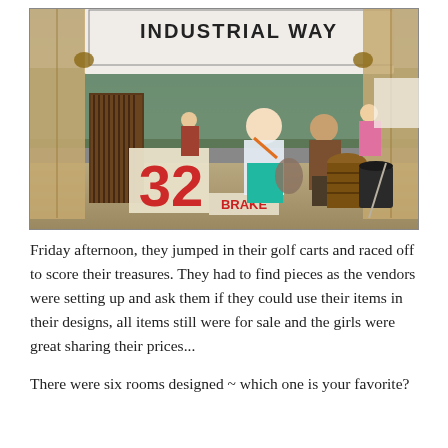[Figure (photo): Outdoor flea market / antique vendor booth with a sign reading 'INDUSTRIAL WAY'. People are browsing vintage furniture and items, with burlap drapes framing the booth. A large number '32' sign and a 'BRAKE' sign are visible in the foreground. Green trees in the background.]
Friday afternoon, they jumped in their golf carts and raced off to score their treasures. They had to find pieces as the vendors were setting up and ask them if they could use their items in their designs, all items still were for sale and the girls were great sharing their prices...
There were six rooms designed ~ which one is your favorite?